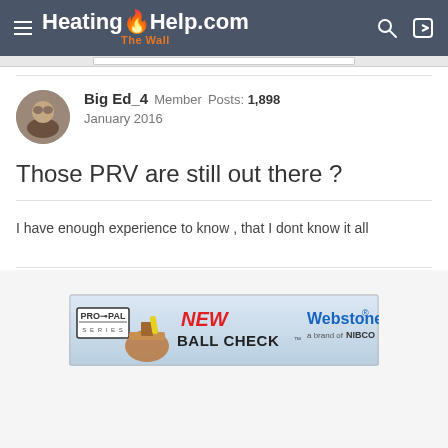HeatingHelp.com — The Wall
Big Ed_4  Member  Posts: 1,898
January 2016
Those PRV are still out there ?
I have enough experience to know , that I dont know it all
[Figure (illustration): Advertisement banner for Webstone PRO-PAL SERIES NEW BALL CHECK product, a brand of NIBCO]